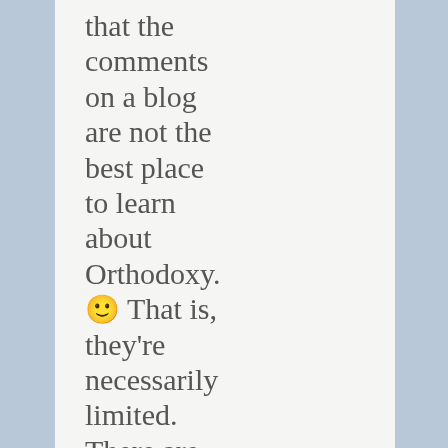that the comments on a blog are not the best place to learn about Orthodoxy. 🙂 That is, they're necessarily limited. There are some good introductory works out